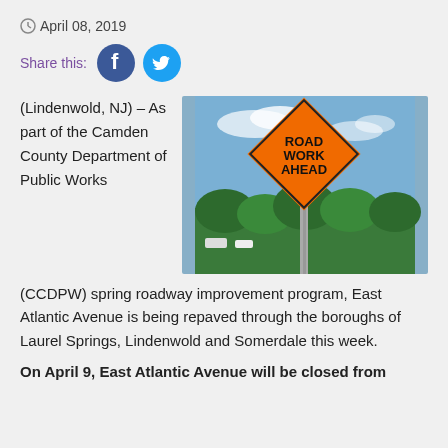April 08, 2019
Share this:
[Figure (photo): A Road Work Ahead orange diamond sign on a post in front of trees and a partly cloudy sky.]
(Lindenwold, NJ) – As part of the Camden County Department of Public Works (CCDPW) spring roadway improvement program, East Atlantic Avenue is being repaved through the boroughs of Laurel Springs, Lindenwold and Somerdale this week.
On April 9, East Atlantic Avenue will be closed from